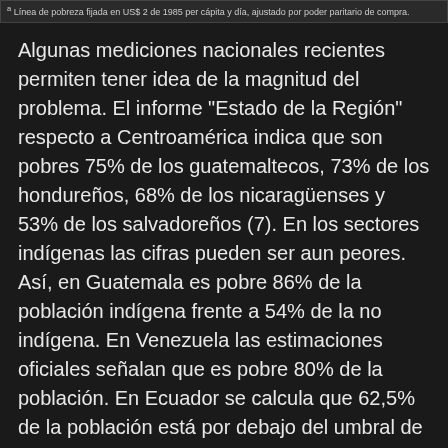Línea de pobreza fijada en US$ 2 de 1985 per cápita y día, ajustado por poder paritario de compra.
Algunas mediciones nacionales recientes permiten tener idea de la magnitud del problema. El informe "Estado de la Región" respecto a Centroamérica indica que son pobres 75% de los guatemaltecos, 73% de los hondureños, 68% de los nicaragüenses y 53% de los salvadoreños (7). En los sectores indígenas las cifras pueden ser aun peores. Así, en Guatemala es pobre 86% de la población indígena frente a 54% de la no indígena. En Venezuela las estimaciones oficiales señalan que es pobre 80% de la población. En Ecuador se calcula que 62,5% de la población está por debajo del umbral de la pobreza. En Brasil se ha estimado que 43,5% de la población gana menos de US$2 diarios y que 40 millones de personas viven en la pobreza absoluta. En Argentina la tasa de pobreza de las provincias del nordeste es de 48,8% y la de las provincias del noroeste de